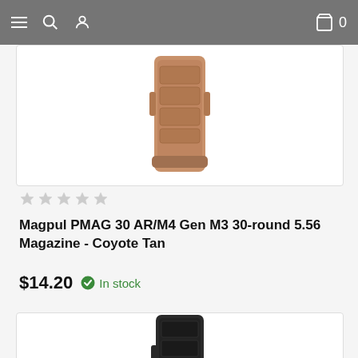Navigation bar with menu, search, user, cart (0) icons
[Figure (photo): Magpul PMAG 30 AR/M4 Gen M3 magazine in Coyote Tan color, shown against white background]
★☆☆☆☆ (star rating, 0 out of 5)
Magpul PMAG 30 AR/M4 Gen M3 30-round 5.56 Magazine - Coyote Tan
$14.20  In stock
[Figure (photo): Black rifle magazine (Magpul PMAG or similar), shown against white background, partially visible]